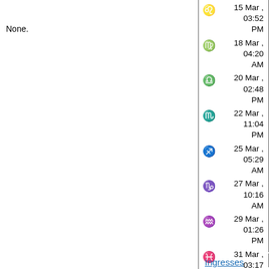None.
| Symbol | Date/Time |
| --- | --- |
| Leo | 15 Mar , 03:52 PM |
| Virgo | 18 Mar , 04:20 AM |
| Libra | 20 Mar , 02:48 PM |
| Scorpio | 22 Mar , 11:04 PM |
| Sagittarius | 25 Mar , 05:29 AM |
| Capricorn | 27 Mar , 10:16 AM |
| Aquarius | 29 Mar , 01:26 PM |
| Pisces | 31 Mar , 03:17 PM |
Ingresses